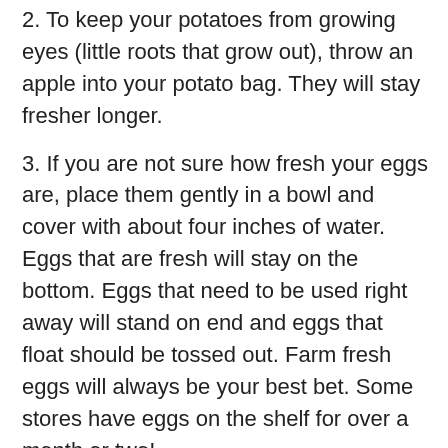2. To keep your potatoes from growing eyes (little roots that grow out), throw an apple into your potato bag. They will stay fresher longer.
3. If you are not sure how fresh your eggs are, place them gently in a bowl and cover with about four inches of water. Eggs that are fresh will stay on the bottom. Eggs that need to be used right away will stand on end and eggs that float should be tossed out. Farm fresh eggs will always be your best bet. Some stores have eggs on the shelf for over a month or two!
4. Do not put tomatoes or citrus in the refrigerator. The low temperature causes the fruits to lose their flavor. If the grocery store has veggies or fruits out on a table, keep them on your